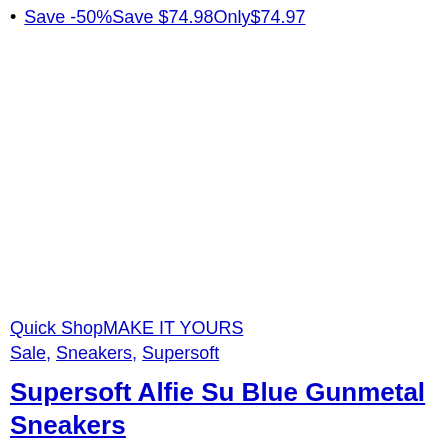Save -50%Save $74.98Only$74.97
Quick ShopMAKE IT YOURS
Sale, Sneakers, Supersoft
Supersoft Alfie Su Blue Gunmetal Sneakers